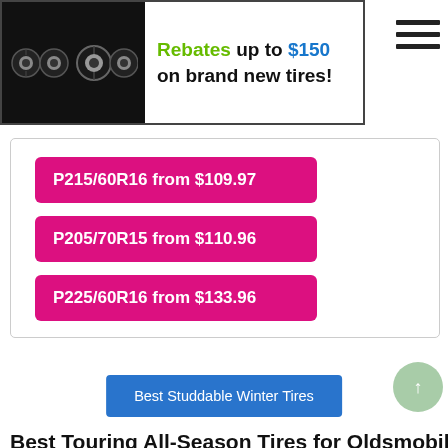[Figure (infographic): Banner ad with four tire images on dark background and text: Rebates up to $150 on brand new tires!]
P215/60R16 from $109.97
P205/70R15 from $110.96
P225/60R16 from $133.96
Best Studdable Winter Tires
Best Touring All-Season Tires for Oldsmobile 98
Touring all-season tires provide unparallel balance of good year-round traction, comfortable ride and longer tread life.